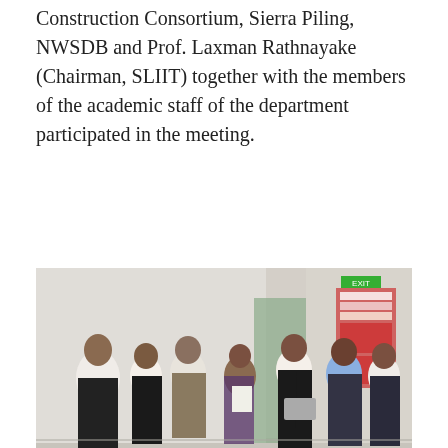Construction Consortium, Sierra Piling, NWSDB and Prof. Laxman Rathnayake (Chairman, SLIIT) together with the members of the academic staff of the department participated in the meeting.
[Figure (photo): Group of people standing in a corridor or hallway, some holding documents, engaged in conversation. Several men in white shirts and dark trousers, a woman in a floral dress, in what appears to be an institutional building.]
[Figure (photo): Close-up of two people in conversation: a woman with glasses and curly hair wearing a patterned outfit (partially obscured by an orange circular icon), and a man in a blue shirt facing her.]